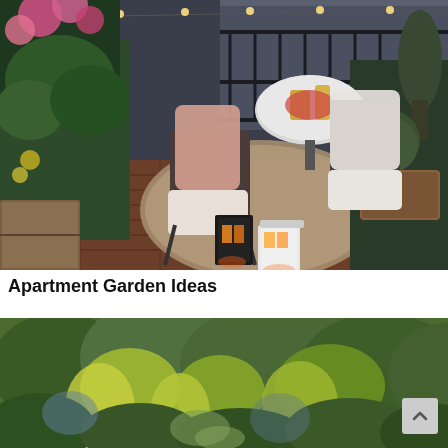[Figure (photo): A cozy apartment balcony garden at dusk, featuring two folding chairs with cushions, a small round bistro table set with drinks and snacks, surrounded by lush green plants and pink flowering geraniums, a round woven rug on wooden deck tiles, two lanterns with candles on the floor, and string lights overhead. Railing of an apartment building visible in the background.]
Apartment Garden Ideas
[Figure (photo): A lush green garden path with dense plantings of various shrubs, ornamental grasses, and ground cover plants in shades of green and yellow-green, appearing very full and naturalistic.]